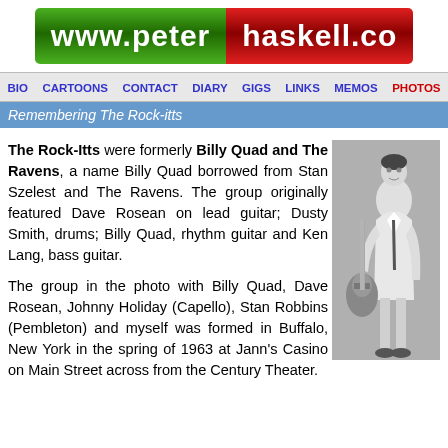[Figure (logo): www.peterhaskell.co website logo banner with green and red sections]
BIO  CARTOONS  CONTACT  DIARY  GIGS  LINKS  MEMOS  PHOTOS
Remembering The Rock-itts
The Rock-Itts were formerly Billy Quad and The Ravens, a name Billy Quad borrowed from Stan Szelest and The Ravens. The group originally featured Dave Rosean on lead guitar; Dusty Smith, drums; Billy Quad, rhythm guitar and Ken Lang, bass guitar.
The group in the photo with Billy Quad, Dave Rosean, Johnny Holiday (Capello), Stan Robbins (Pembleton) and myself was formed in Buffalo, New York in the spring of 1963 at Jann's Casino on Main Street across from the Century Theater.
[Figure (photo): Black and white photo of a person holding a guitar]